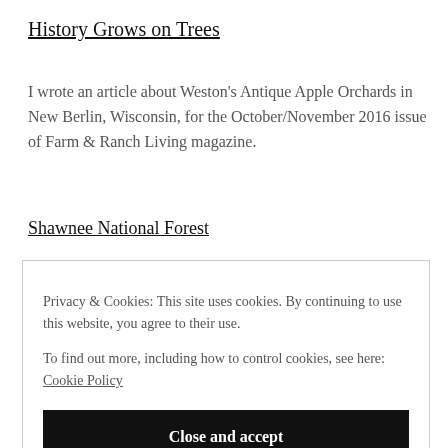History Grows on Trees
I wrote an article about Weston's Antique Apple Orchards in New Berlin, Wisconsin, for the October/November 2016 issue of Farm & Ranch Living magazine.
Shawnee National Forest
Privacy & Cookies: This site uses cookies. By continuing to use this website, you agree to their use. To find out more, including how to control cookies, see here: Cookie Policy
Close and accept